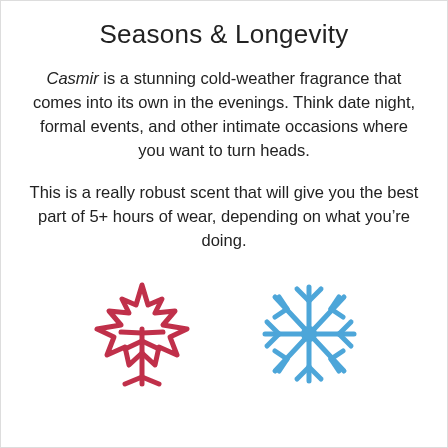Seasons & Longevity
Casmir is a stunning cold-weather fragrance that comes into its own in the evenings. Think date night, formal events, and other intimate occasions where you want to turn heads.
This is a really robust scent that will give you the best part of 5+ hours of wear, depending on what you’re doing.
[Figure (illustration): A red maple leaf icon and a blue snowflake icon side by side, representing autumn and winter seasons.]